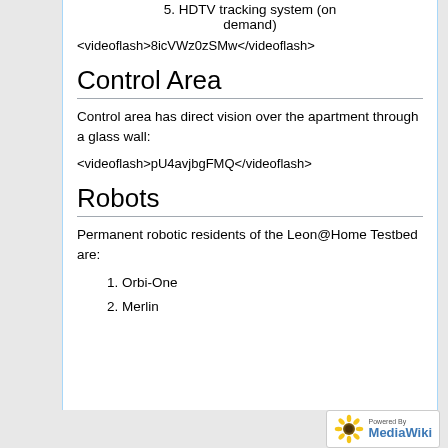5. HDTV tracking system (on demand)
<videoflash>8icVWz0zSMw</videoflash>
Control Area
Control area has direct vision over the apartment through a glass wall:
<videoflash>pU4avjbgFMQ</videoflash>
Robots
Permanent robotic residents of the Leon@Home Testbed are:
1. Orbi-One
2. Merlin
Powered by MediaWiki